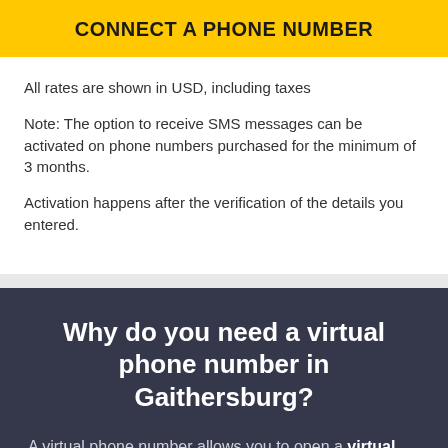CONNECT A PHONE NUMBER
All rates are shown in USD, including taxes
Note: The option to receive SMS messages can be activated on phone numbers purchased for the minimum of 3 months.
Activation happens after the verification of the details you entered.
Why do you need a virtual phone number in Gaithersburg?
A virtual phone number allows you to open a virtual office in Gaithersburg in 5 minutes. Clients and partners will call their local landline phone